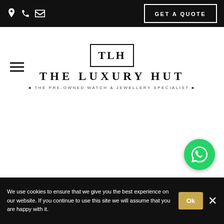GET A QUOTE
[Figure (logo): The Luxury Hut logo — TLH monogram in a square border above the text THE LUXURY HUT and tagline THE PRE-OWNED WATCH & JEWELLERY SPECIALIST]
[Figure (other): WhatsApp contact button (green circle with WhatsApp icon)]
We use cookies to ensure that we give you the best experience on our website. If you continue to use this site we will assume that you are happy with it.